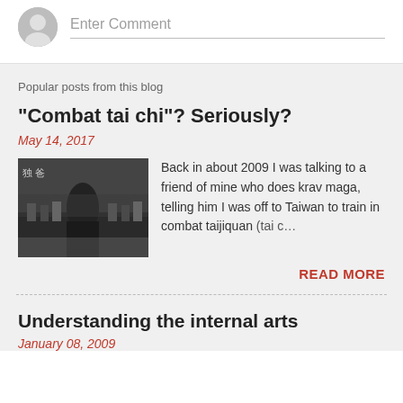Enter Comment
Popular posts from this blog
"Combat tai chi"? Seriously?
May 14, 2017
[Figure (photo): Martial arts demonstration photo showing people in a hall]
Back in about 2009 I was talking to a friend of mine who does krav maga, telling him I was off to Taiwan to train in combat taijiquan (tai c…
READ MORE
Understanding the internal arts
January 08, 2009